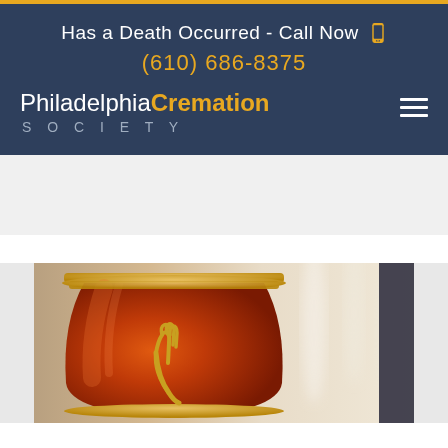Has a Death Occurred - Call Now (610) 686-8375
[Figure (logo): Philadelphia Cremation Society logo with hamburger menu icon on dark navy background]
[Figure (photo): Close-up photo of a red and gold decorative cremation urn with praying hands emblem, blurred candles in background]